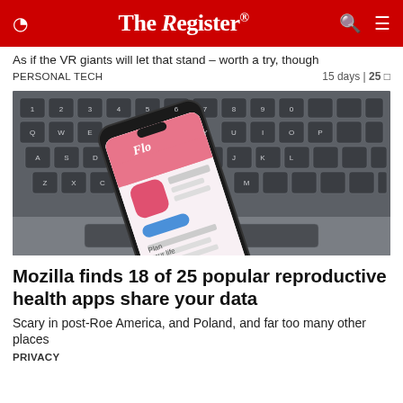The Register®
As if the VR giants will let that stand – worth a try, though
PERSONAL TECH   15 days | 25
[Figure (photo): A smartphone showing a reproductive health app (Flo) displayed on its screen, resting on a laptop keyboard]
Mozilla finds 18 of 25 popular reproductive health apps share your data
Scary in post-Roe America, and Poland, and far too many other places
PRIVACY